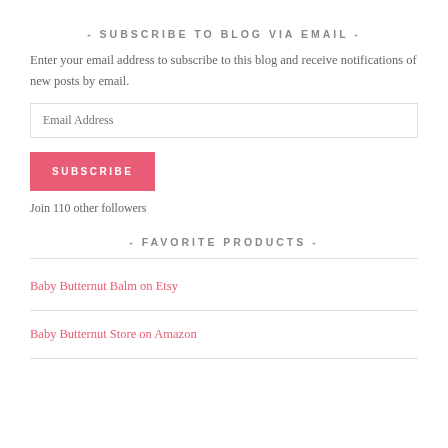- SUBSCRIBE TO BLOG VIA EMAIL -
Enter your email address to subscribe to this blog and receive notifications of new posts by email.
Email Address
SUBSCRIBE
Join 110 other followers
- FAVORITE PRODUCTS -
Baby Butternut Balm on Etsy
Baby Butternut Store on Amazon